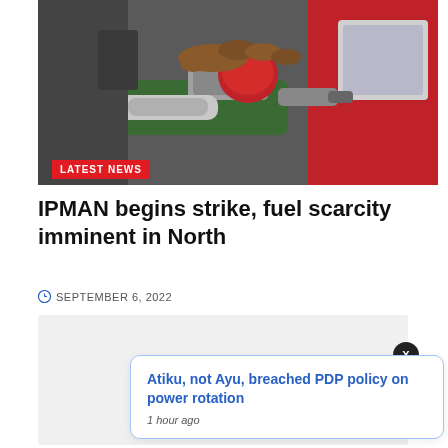[Figure (photo): Close-up photo of a person's hand holding a red fuel nozzle inserted into a green hose, with a red car in the background. 'LATEST NEWS' badge overlaid at bottom left.]
IPMAN begins strike, fuel scarcity imminent in North
SEPTEMBER 6, 2022
[Figure (screenshot): Notification card with text: 'Atiku, not Ayu, breached PDP policy on power rotation' and '1 hour ago']